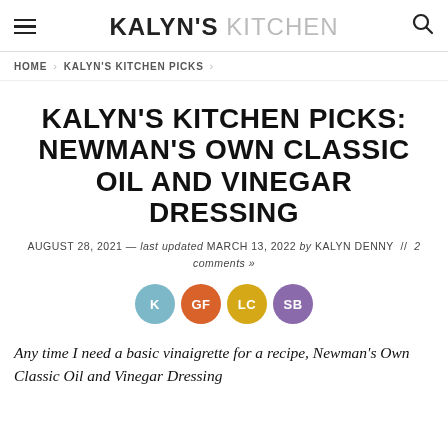KALYN'S KITCHEN
HOME > KALYN'S KITCHEN PICKS
KALYN'S KITCHEN PICKS: NEWMAN'S OWN CLASSIC OIL AND VINEGAR DRESSING
AUGUST 28, 2021 — last updated MARCH 13, 2022 by KALYN DENNY // 2 comments »
[Figure (infographic): Four colored circular badge icons labeled K (blue), GF (orange), LC (yellow), SB (purple)]
Any time I need a basic vinaigrette for a recipe, Newman's Own Classic Oil and Vinegar Dressing